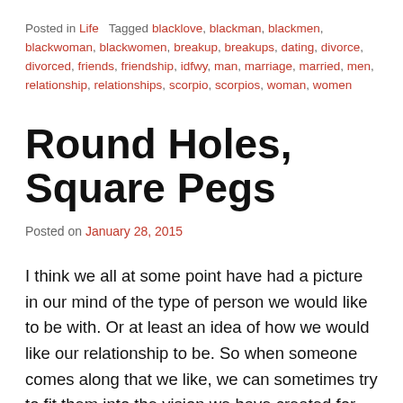Posted in Life   Tagged blacklove, blackman, blackmen, blackwoman, blackwomen, breakup, breakups, dating, divorce, divorced, friends, friendship, idfwy, man, marriage, married, men, relationship, relationships, scorpio, scorpios, woman, women
Round Holes, Square Pegs
Posted on January 28, 2015
I think we all at some point have had a picture in our mind of the type of person we would like to be with. Or at least an idea of how we would like our relationship to be. So when someone comes along that we like, we can sometimes try to fit them into the vision we have created for ourselves. We overlook habits, traits, and flaws that would otherwise be an issue, but we choose to ignore